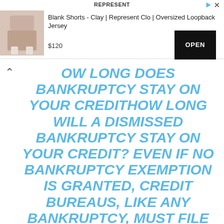[Figure (screenshot): Advertisement banner for Represent Clothing. Shows product image of shorts, product name 'Blank Shorts - Clay | Represent Clo | Oversized Loopback Jersey', price $120, and an OPEN button. Top bar says REPRESENT with play and close icons.]
OW LONG DOES BANKRUPTCY STAY ON YOUR CREDITHOW LONG WILL A DISMISSED BANKRUPTCY STAY ON YOUR CREDIT? EVEN IF NO BANKRUPTCY EXEMPTION IS GRANTED, CREDIT BUREAUS, LIKE ANY BANKRUPTCY, MUST FILE AND DECLARE FILED AND TERMINATED BANKRUPTCIES WITHIN 10 YEARS. IF YOUR CREDIT REPORT INCORRECTLY LISTS A CASE AS REJECTED, YOU CAN REMOVE IT. WAIT 10 YEARS.HOW LONG